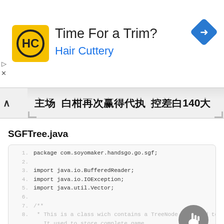[Figure (other): Advertisement banner for Hair Cuttery with logo and navigation icon]
主场 白柑再次赢得代执 控差白140大
SGFTree.java
1. package com.soyomaker.handsgo.go.sgf;
2.
3. import java.io.BufferedReader;
4. import java.io.IOException;
5. import java.util.Vector;
6.
7. /**
8.  * This is a class wich contains a TreeNode. It used to store complete game
9.  * trees.
10.  *
11.  */